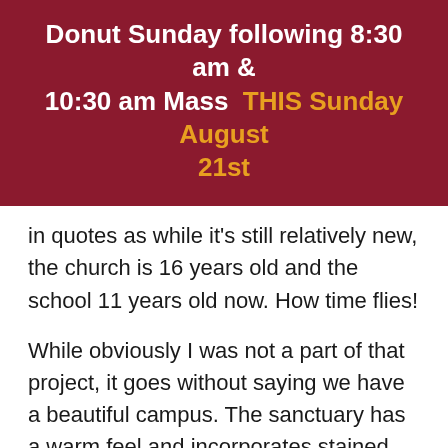Donut Sunday following 8:30 am & 10:30 am Mass THIS Sunday August 21st
in quotes as while it's still relatively new, the church is 16 years old and the school 11 years old now. How time flies!
While obviously I was not a part of that project, it goes without saying we have a beautiful campus. The sanctuary has a warm feel and incorporates stained glass from our former site and is truly striking. A lot of care goes into the maintenance of the church and school from both volunteers and our excellent maintenance staff. And thanks to the generosity of parishioners, we are able to provide a